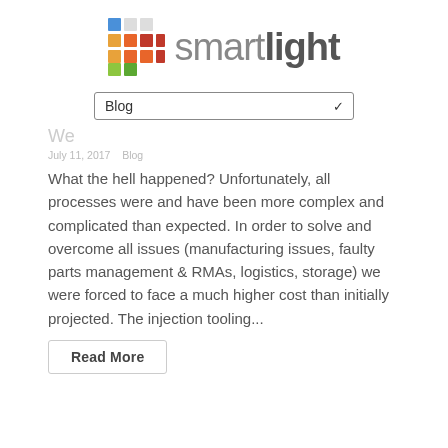[Figure (logo): Smartlight logo with colorful grid squares and text 'smartlight']
[Figure (screenshot): Blog dropdown selector UI element]
We...
July 11, 2017   Blog
What the hell happened? Unfortunately, all processes were and have been more complex and complicated than expected. In order to solve and overcome all issues (manufacturing issues, faulty parts management & RMAs, logistics, storage) we were forced to face a much higher cost than initially projected. The injection tooling...
Read More